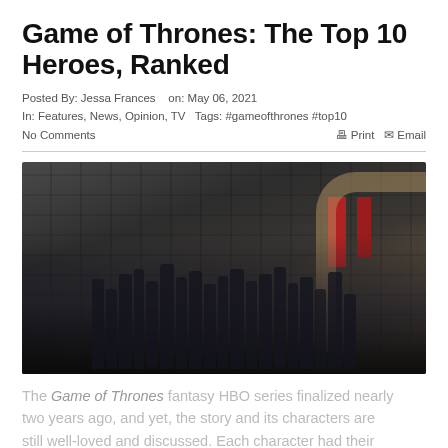Game of Thrones: The Top 10 Heroes, Ranked
Posted By: Jessa Frances   on: May 06, 2021
In: Features, News, Opinion, TV   Tags: #gameofthrones #top10
No Comments                                          Print   Email
[Figure (photo): Group cast photo of Game of Thrones characters in dark medieval costumes standing in front of a stone castle with red banners in the background.]
The Game of Thrones fantasy HBO series finalized nearly two years ago, and yet, the story and its characters are still well-loved and discussed. Each character had their